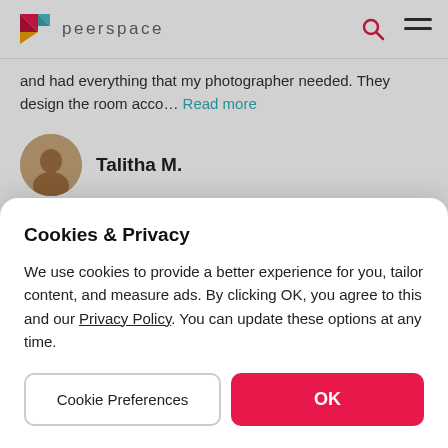peerspace
and had everything that my photographer needed. They design the room acco... Read more
Talitha M.
Cookies & Privacy
We use cookies to provide a better experience for you, tailor content, and measure ads. By clicking OK, you agree to this and our Privacy Policy. You can update these options at any time.
Cookie Preferences
OK
Cottage House Studio with Modern Design